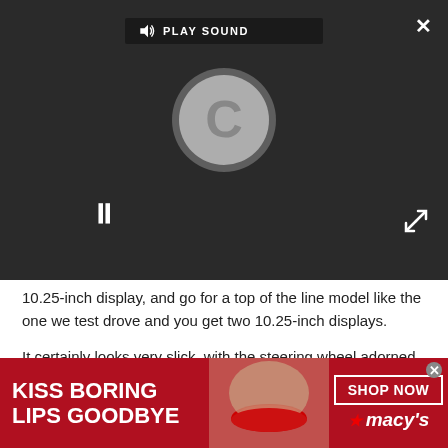[Figure (screenshot): Video player with dark background showing a loading spinner (C icon), a PLAY SOUND button, a pause button (||), a close X button, and expand arrows icon.]
10.25-inch display, and go for a top of the line model like the one we test drove and you get two 10.25-inch displays.

It certainly looks very slick, with the steering wheel adorned with buttons and dials to control the two displays. Alternatively, there’s a touchpad in the central console that can also be used to interact with the A-Class – and if that isn’t enough, the central screen is also touch-sensitive.
[Figure (screenshot): Red Macy’s advertisement banner reading KISS BORING LIPS GOODBYE with a SHOP NOW button and Macy’s star logo.]